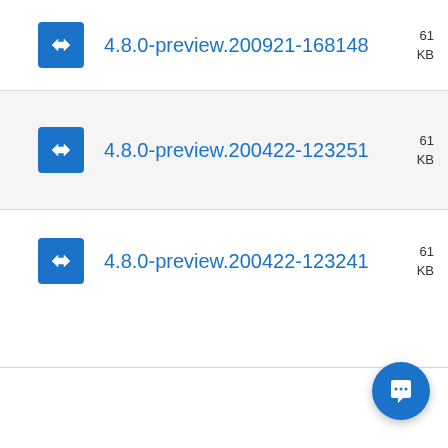4.8.0-preview.200921-168148
4.8.0-preview.200422-123251
4.8.0-preview.200422-123241